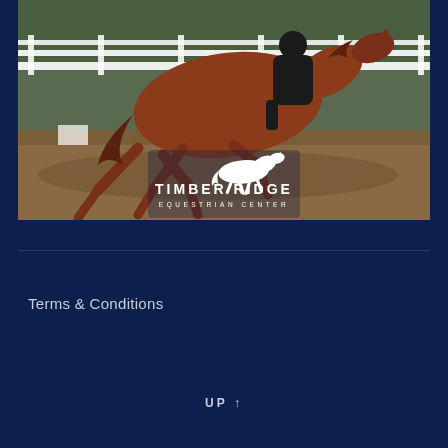[Figure (photo): A chestnut horse with rider performing dressage in an outdoor arena with white fence rails, a white Timber Ridge Equestrian Center logo with horse silhouette overlaid on the lower center of the image]
Terms & Conditions
UP ↑